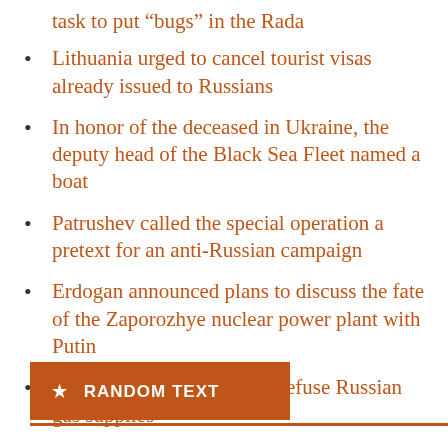task to put “bugs” in the Rada
Lithuania urged to cancel tourist visas already issued to Russians
In honor of the deceased in Ukraine, the deputy head of the Black Sea Fleet named a boat
Patrushev called the special operation a pretext for an anti-Russian campaign
Erdogan announced plans to discuss the fate of the Zaporozhye nuclear power plant with Putin
Berlusconi offered Italy to refuse Russian gas supplies
★ RANDOM TEXT